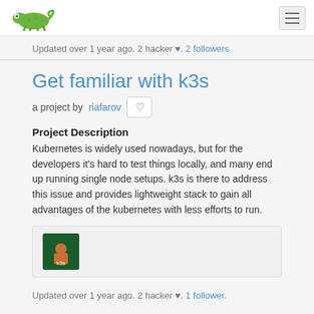SUSE Hack Week [logo] [hamburger menu]
Updated over 1 year ago. 2 hacker ♥. 2 followers.
Get familiar with k3s
a project by riafarov [heart button]
Project Description
Kubernetes is widely used nowadays, but for the developers it's hard to test things locally, and many end up running single node setups. k3s is there to address this issue and provides lightweight stack to gain all advantages of the kubernetes with less efforts to run.
[Figure (photo): User avatar icon with orange/brown figure on dark green background]
Updated over 1 year ago. 2 hacker ♥. 1 follower.